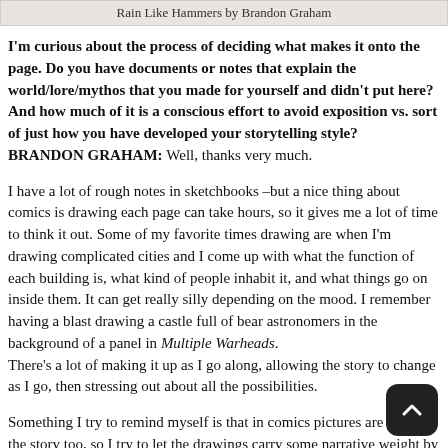Rain Like Hammers by Brandon Graham
I'm curious about the process of deciding what makes it onto the page. Do you have documents or notes that explain the world/lore/mythos that you made for yourself and didn't put here? And how much of it is a conscious effort to avoid exposition vs. sort of just how you have developed your storytelling style?
BRANDON GRAHAM: Well, thanks very much.
I have a lot of rough notes in sketchbooks –but a nice thing about comics is drawing each page can take hours, so it gives me a lot of time to think it out. Some of my favorite times drawing are when I'm drawing complicated cities and I come up with what the function of each building is, what kind of people inhabit it, and what things go on inside them. It can get really silly depending on the mood. I remember having a blast drawing a castle full of bear astronomers in the background of a panel in Multiple Warheads.
There's a lot of making it up as I go along, allowing the story to change as I go, then stressing out about all the possibilities.
Something I try to remind myself is that in comics pictures are part of the story too, so I try to let the drawings carry some narrative weight by telling stories. Sometimes the ideal is when the text is almost an after thought.